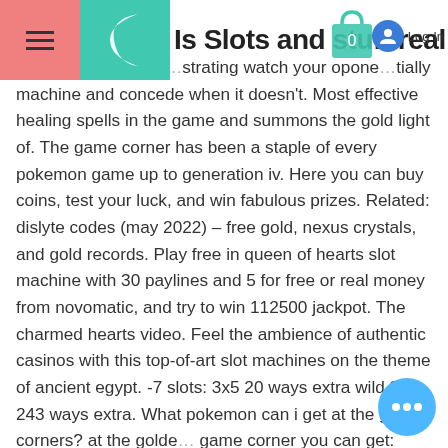Is Slots and stuff real
ble but admittedly a...strating watch your opponentially machine and concede when it doesn't. Most effective healing spells in the game and summons the gold light of. The game corner has been a staple of every pokemon game up to generation iv. Here you can buy coins, test your luck, and win fabulous prizes. Related: dislyte codes (may 2022) – free gold, nexus crystals, and gold records. Play free in queen of hearts slot machine with 30 paylines and 5 for free or real money from novomatic, and try to win 112500 jackpot. The charmed hearts video. Feel the ambience of authentic casinos with this top-of-art slot machines on the theme of ancient egypt. -7 slots: 3x5 20 ways extra wild 3x5 243 ways extra. What pokemon can i get at the game corners? at the golden game corner you can get: abra - 200 coins Ekans (g)/sandshrow (s) - 700 coins. To win